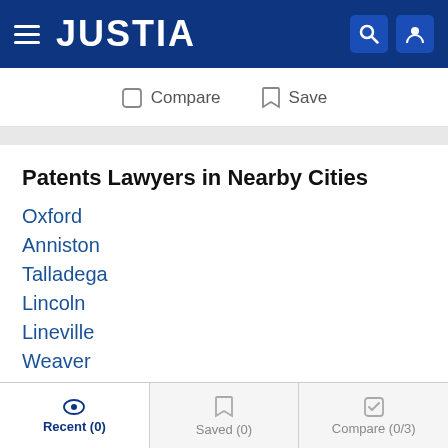JUSTIA
Compare   Save
Patents Lawyers in Nearby Cities
Oxford
Anniston
Talladega
Lincoln
Lineville
Weaver
Patents Lawyers in Nearby Counties
Recent (0)   Saved (0)   Compare (0/3)